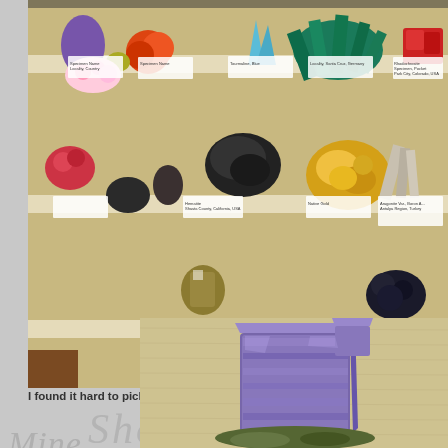[Figure (photo): A museum display case showing multiple mineral specimens on white shelves with label cards. Specimens include colorful crystals and minerals in red, orange, teal/green, purple, gold, black, and other colors.]
I found it hard to pick out favorites in this case - they are all so
[Figure (photo): Close-up photograph of a large purple fluorite or similar mineral crystal specimen on a beige textured background.]